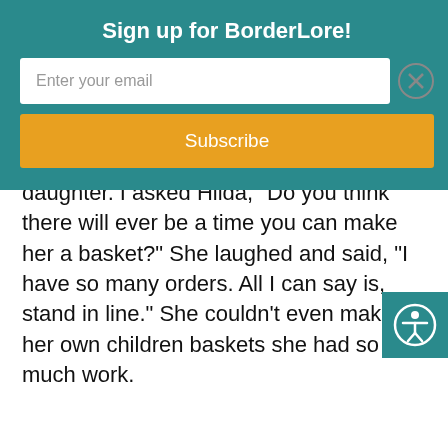Sign up for BorderLore!
Enter your email
Subscribe
daughter. I asked Hilda, “Do you think there will ever be a time you can make her a basket?” She laughed and said, “I have so many orders. All I can say is, stand in line.” She couldn’t even make her own children baskets she had so much work.
[Figure (other): Accessibility icon button (person in circle) in teal square, bottom right corner]